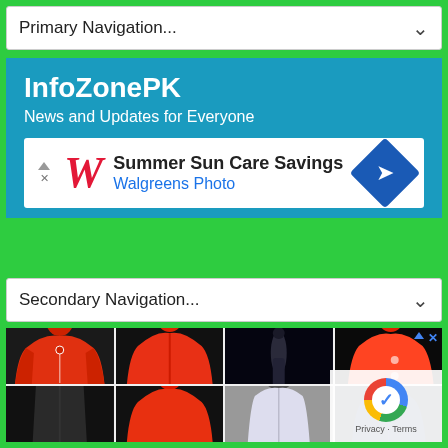Primary Navigation...
InfoZonePK
News and Updates for Everyone
[Figure (infographic): Walgreens advertisement banner: Summer Sun Care Savings, Walgreens Photo, with Walgreens W logo and blue diamond directional icon]
Secondary Navigation...
[Figure (photo): Grid of jacket product photos - red hooded jackets shown from multiple angles (front, back, side), a dark background item, and a person wearing a jacket. Bottom right has reCAPTCHA badge with Privacy and Terms links.]